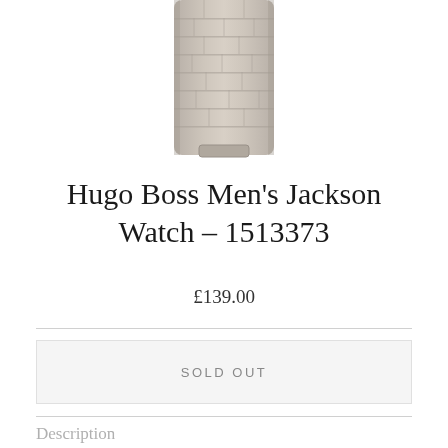[Figure (photo): Partial view of a Hugo Boss watch strap in grey/taupe crocodile-textured leather, cropped at top of page]
Hugo Boss Men's Jackson Watch – 1513373
£139.00
SOLD OUT
Description
This men Hugo Boss Jackson watch has a stainless steel case